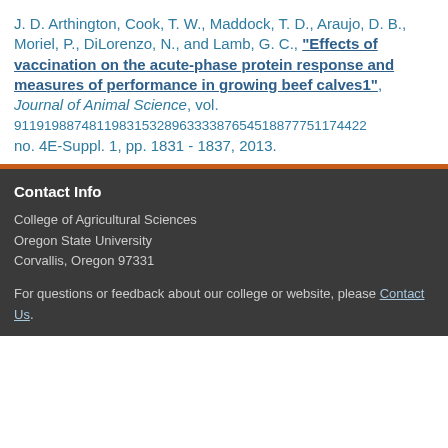J. D. Arthington, Cook, T. W., Maddock, T. D., Araujo, D. B., Moriel, P., DiLorenzo, N., and Lamb, G. C., "Effects of vaccination on the acute-phase protein response and measures of performance in growing beef calves1", Journal of Animal Science, vol. 91191988748119831532896333387654518877751174422 no. 4E-Suppl. 1, pp. 1831 - 1837, 2013.
Contact Info
College of Agricultural Sciences
Oregon State University
Corvallis, Oregon 97331
For questions or feedback about our college or website, please Contact Us.